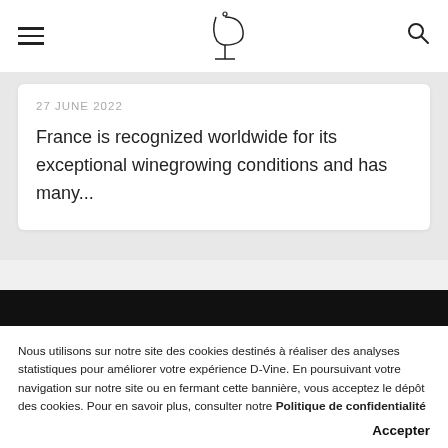Navigation bar with hamburger menu, D-Vine logo, and search icon
27 JUNE 2022
France is recognized worldwide for its exceptional winegrowing conditions and has many...
Nous utilisons sur notre site des cookies destinés à réaliser des analyses statistiques pour améliorer votre expérience D-Vine. En poursuivant votre navigation sur notre site ou en fermant cette bannière, vous acceptez le dépôt des cookies. Pour en savoir plus, consulter notre Politique de confidentialité
Accepter